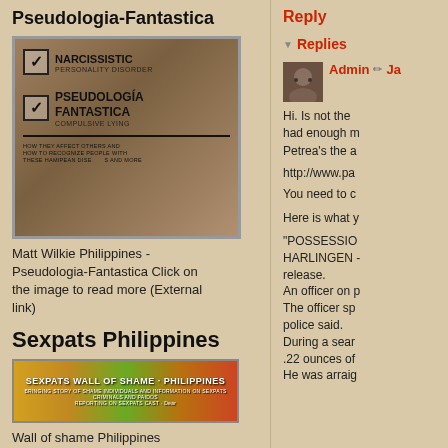Pseudologia-Fantastica
[Figure (photo): Image showing checkboxes with 'Narcissistic Personality Disorder' and 'Pseudologia Fantastica - Compulsive Lying' checked, with text about how they affect others]
Matt Wilkie Philippines - Pseudologia-Fantastica Click on the image to read more (External link)
Sexpats Philippines
[Figure (photo): Banner image: Sexpats Wall of Shame - Philippines]
Wall of shame Philippines directory is a repertoire of
Reply
▼ Replies
Admin Ja
Hi. Is not the had enough m Petrea's the a
http://www.pa
You need to c
Here is what y
"POSSESSION HARLINGEN - release. An officer on p The officer sp police said. During a sear .22 ounces of He was arraig